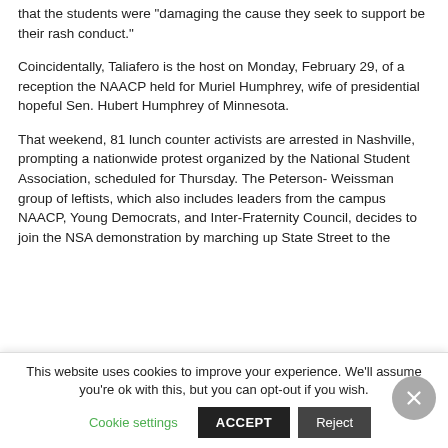that the students were "damaging the cause they seek to support be their rash conduct."
Coincidentally, Taliafero is the host on Monday, February 29, of a reception the NAACP held for Muriel Humphrey, wife of presidential hopeful Sen. Hubert Humphrey of Minnesota.
That weekend, 81 lunch counter activists are arrested in Nashville, prompting a nationwide protest organized by the National Student Association, scheduled for Thursday. The Peterson- Weissman group of leftists, which also includes leaders from the campus NAACP, Young Democrats, and Inter-Fraternity Council, decides to join the NSA demonstration by marching up State Street to the
This website uses cookies to improve your experience. We'll assume you're ok with this, but you can opt-out if you wish.
Cookie settings   ACCEPT   Reject